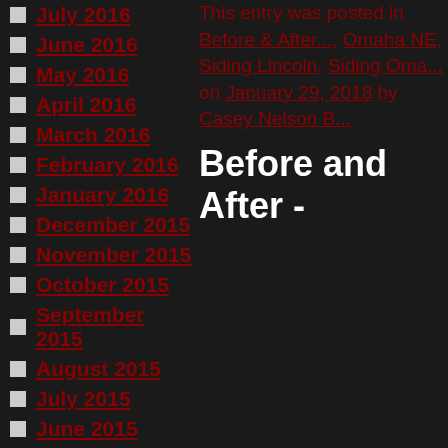July 2016
June 2016
May 2016
April 2016
March 2016
February 2016
January 2016
December 2015
November 2015
October 2015
September 2015
August 2015
July 2015
June 2015
May 2015
April 2015
March 2015
This entry was posted in Before & After..., Omaha NE, Siding Lincoln, Siding Oma... on January 29, 2018 by Casey Nelson B...
Before and After -